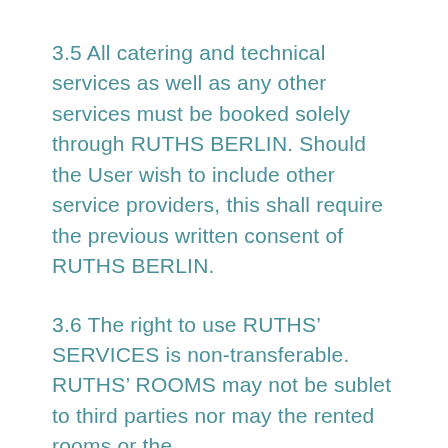3.5 All catering and technical services as well as any other services must be booked solely through RUTHS BERLIN. Should the User wish to include other service providers, this shall require the previous written consent of RUTHS BERLIN.
3.6 The right to use RUTHS' SERVICES is non-transferable. RUTHS' ROOMS may not be sublet to third parties nor may the rented rooms or the